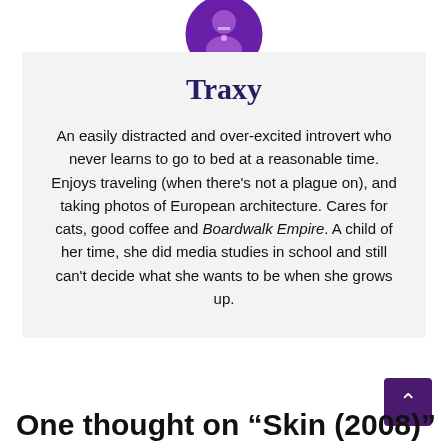[Figure (photo): Circular avatar image of Traxy, showing a person with purple-toned photo treatment, partially cropped at top of page]
Traxy
An easily distracted and over-excited introvert who never learns to go to bed at a reasonable time. Enjoys traveling (when there's not a plague on), and taking photos of European architecture. Cares for cats, good coffee and Boardwalk Empire. A child of her time, she did media studies in school and still can't decide what she wants to be when she grows up.
One thought on “Skin (2008)”